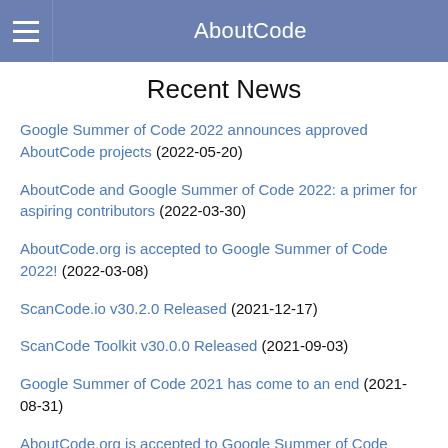AboutCode
Recent News
Google Summer of Code 2022 announces approved AboutCode projects (2022-05-20)
AboutCode and Google Summer of Code 2022: a primer for aspiring contributors (2022-03-30)
AboutCode.org is accepted to Google Summer of Code 2022! (2022-03-08)
ScanCode.io v30.2.0 Released (2021-12-17)
ScanCode Toolkit v30.0.0 Released (2021-09-03)
Google Summer of Code 2021 has come to an end (2021-08-31)
AboutCode.org is accepted to Google Summer of Code 2021! (2021-03-09)
AboutCode.org applies to Google Summer of Code 2021! (2021-01-29)